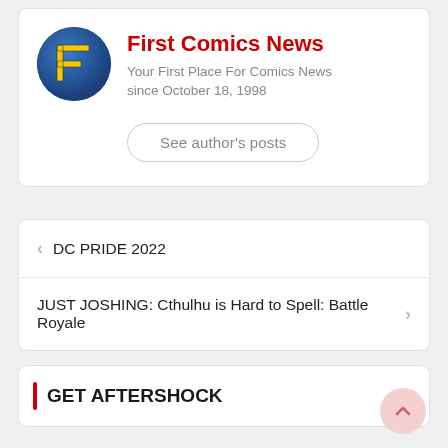[Figure (logo): First Comics News circular logo with yellow F letter on blue background]
First Comics News
Your First Place For Comics News since October 18, 1998
See author's posts
< DC PRIDE 2022
JUST JOSHING: Cthulhu is Hard to Spell: Battle Royale >
GET AFTERSHOCK